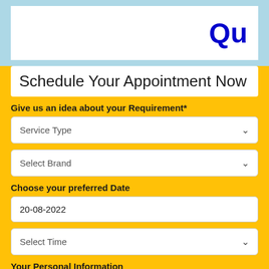Qu
Schedule Your Appointment Now
Give us an idea about your Requirement*
Service Type
Select Brand
Choose your preferred Date
20-08-2022
Select Time
Your Personal Information
Name: